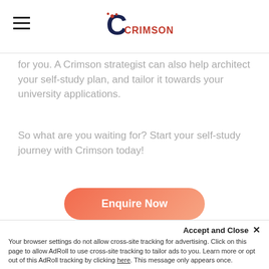Crimson logo and hamburger menu
for you. A Crimson strategist can also help architect your self-study plan, and tailor it towards your university applications.
So what are you waiting for? Start your self-study journey with Crimson today!
[Figure (other): Enquire Now button — orange/salmon rounded rectangle]
If you are interested in completing International GCSE and A-Levels as part of your self-study, check out Crimson Global Academy, our new online school that will optimise your chances of success in high school and beyond.
Accept and Close ✕ Your browser settings do not allow cross-site tracking for advertising. Click on this page to allow AdRoll to use cross-site tracking to tailor ads to you. Learn more or opt out of this AdRoll tracking by clicking here. This message only appears once.